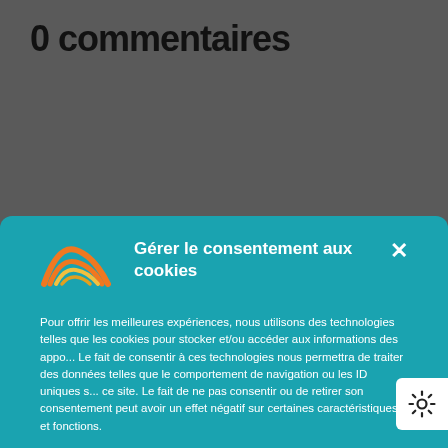0 commentaires
[Figure (screenshot): Cookie consent modal dialog overlay on a webpage. The modal has a teal/cyan background with a rainbow logo icon, title 'Gérer le consentement aux cookies', body text in French about cookies and technologies, a blue underlined link, an orange 'Accepter' button, and a light 'Refuser' button. A gear/settings icon appears at the right edge.]